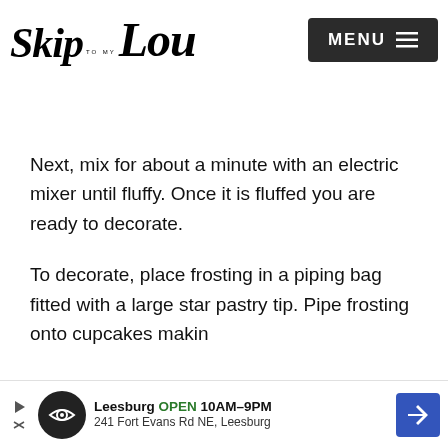Skip to my Lou | MENU
Next, mix for about a minute with an electric mixer until fluffy. Once it is fluffed you are ready to decorate.
To decorate, place frosting in a piping bag fitted with a large star pastry tip. Pipe frosting onto cupcakes making
[Figure (advertisement): Ad banner: Leesburg OPEN 10AM-9PM, 241 Fort Evans Rd NE, Leesburg with navigation arrow icon]